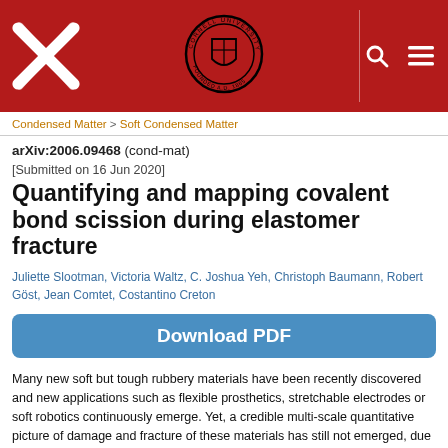arXiv Cornell University header with logo and seal
Condensed Matter > Soft Condensed Matter
arXiv:2006.09468 (cond-mat)
[Submitted on 16 Jun 2020]
Quantifying and mapping covalent bond scission during elastomer fracture
Juliette Slootman, Victoria Waltz, C. Joshua Yeh, Christoph Baumann, Robert Göst, Jean Comtet, Costantino Creton
Download PDF
Many new soft but tough rubbery materials have been recently discovered and new applications such as flexible prosthetics, stretchable electrodes or soft robotics continuously emerge. Yet, a credible multi-scale quantitative picture of damage and fracture of these materials has still not emerged, due to our fundamental inability